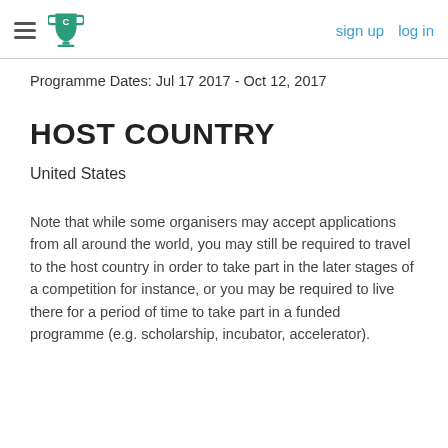sign up  log in
Programme Dates: Jul 17 2017 - Oct 12, 2017
HOST COUNTRY
United States
Note that while some organisers may accept applications from all around the world, you may still be required to travel to the host country in order to take part in the later stages of a competition for instance, or you may be required to live there for a period of time to take part in a funded programme (e.g. scholarship, incubator, accelerator).